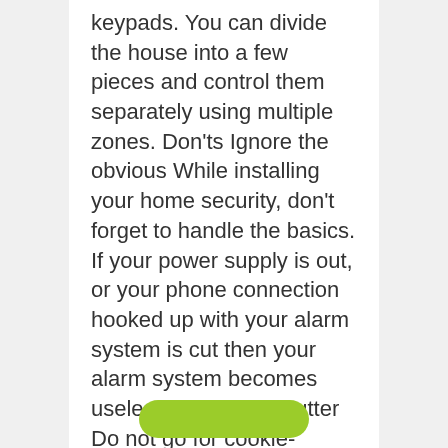keypads. You can divide the house into a few pieces and control them separately using multiple zones. Don'ts Ignore the obvious While installing your home security, don't forget to handle the basics. If your power supply is out, or your phone connection hooked up with your alarm system is cut then your alarm system becomes useless. Go cookie-cutter Do not go for cookie-cutters, as they are potentially unsafe, and never underestimate the specific needs of your...
[Figure (other): Green rounded button at bottom of card]